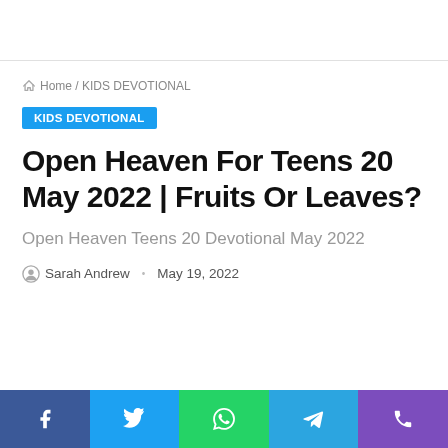Home / KIDS DEVOTIONAL
KIDS DEVOTIONAL
Open Heaven For Teens 20 May 2022 | Fruits Or Leaves?
Open Heaven Teens 20 Devotional May 2022
Sarah Andrew · May 19, 2022
Facebook Twitter WhatsApp Telegram Phone